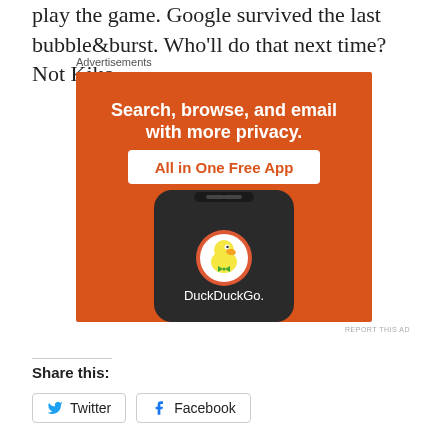play the game. Google survived the last bubble&burst. Who'll do that next time? Not Kiko.
Advertisements
[Figure (photo): DuckDuckGo advertisement banner on orange background. Text reads: 'Search, browse, and email with more privacy. All in One Free App'. Shows a smartphone with DuckDuckGo logo and app name.]
REPORT THIS AD
Share this:
Twitter
Facebook